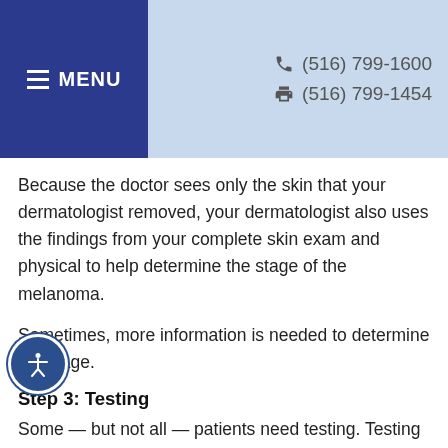MENU  ☎ (516) 799-1600  🖨 (516) 799-1454
Because the doctor sees only the skin that your dermatologist removed, your dermatologist also uses the findings from your complete skin exam and physical to help determine the stage of the melanoma.
Sometimes, more information is needed to determine the stage.
Step 3: Testing
Some — but not all — patients need testing. Testing can help find out whether the melanoma has spread beyond the skin.
If you need further testing, you will likely be seen by a medical or surgical oncologist. Medical tests used to look for cancer include X-rays, ultrasound, computerized